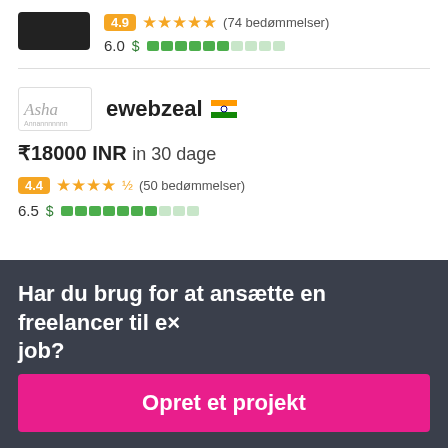[Figure (screenshot): Partial freelancer card showing rating 4.9 with 5 stars (74 bedømmelser) and score 6.0 with green bar indicator]
4.9 ★★★★★ (74 bedømmelser)
6.0 $
[Figure (logo): Asha logo image]
ewebzeal 🇮🇳
₹18000 INR in 30 dage
4.4 ★★★★½ (50 bedømmelser)
6.5 $
Har du brug for at ansætte en freelancer til et job?
Opret et projekt